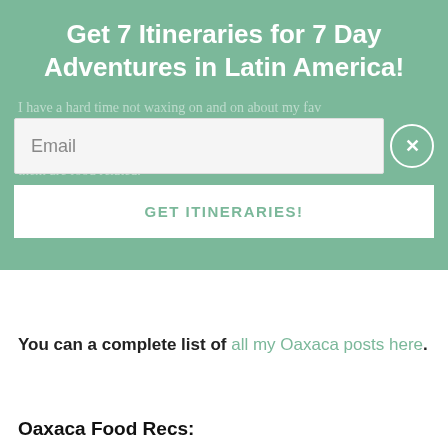Get 7 Itineraries for 7 Day Adventures in Latin America!
I have a hard time not waxing on and on about my fav… you're looking for more: check out some of my other fav… them are food related.
[Figure (screenshot): Email input field with placeholder text 'Email' and a close button (X circle) to the right]
[Figure (screenshot): Button with text 'GET ITINERARIES!' in green on white background]
You can a complete list of all my Oaxaca posts here.
Oaxaca Food Recs: